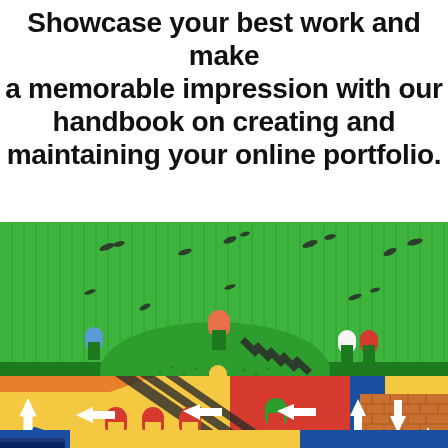Showcase your best work and make a memorable impression with our handbook on creating and maintaining your online portfolio.
[Figure (illustration): Colorful illustrated cityscape with green striped background, dotted green hill with dark staircase, archway figures in orange, blue, white and red at top, and bold yellow, red, blue and orange geometric building blocks with white arrows pointing in various directions at bottom. Brick pattern visible on right side.]